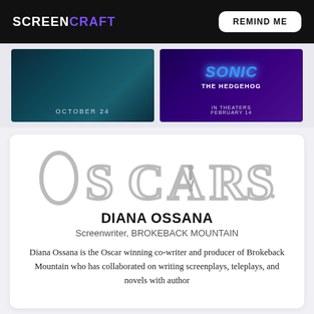SCREENCRAFT | REMIND ME
[Figure (photo): Two movie posters side by side: left is a dark thriller poster with 'OCTOBER 24' text, right is Sonic the Hedgehog poster with 'IN THEATERS FEBRUARY 14']
[Figure (logo): OSCARS logo in gray, large serif letters with Oscar statuette figure inside the A]
DIANA OSSANA
Screenwriter, BROKEBACK MOUNTAIN
Diana Ossana is the Oscar winning co-writer and producer of Brokeback Mountain who has collaborated on writing screenplays, teleplays, and novels with author